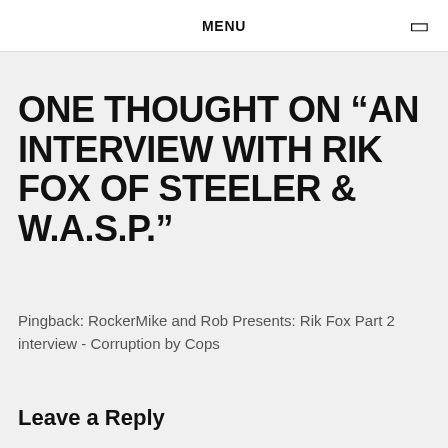MENU
ONE THOUGHT ON “AN INTERVIEW WITH RIK FOX OF STEELER & W.A.S.P.”
Pingback: RockerMike and Rob Presents: Rik Fox Part 2 interview - Corruption by Cops
Leave a Reply